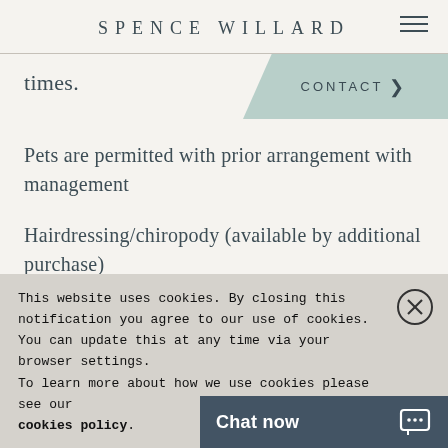SPENCE WILLARD
times.
CONTACT >
Pets are permitted with prior arrangement with management
Hairdressing/chiropody (available by additional purchase)
This website uses cookies. By closing this notification you agree to our use of cookies. You can update this at any time via your browser settings.
To learn more about how we use cookies please see our cookies policy.
Chat now